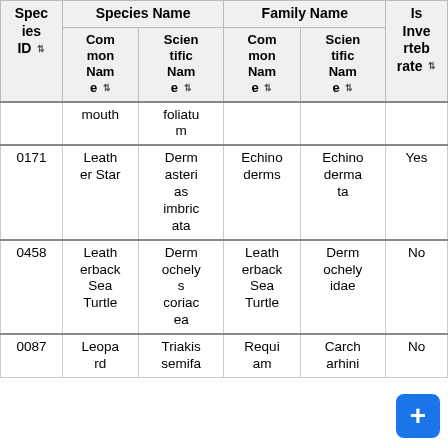| Species ID | Species Name Common Name | Species Name Scientific Name | Family Name Common Name | Family Name Scientific Name | Is Invertebrate |
| --- | --- | --- | --- | --- | --- |
|  | mouth | foliatum |  |  |  |
| 0171 | Leather Star | Dermasterias imbricata | Echinoderms | Echinodermata | Yes |
| 0458 | Leatherback Sea Turtle | Dermochelys coriacea | Leatherback Sea Turtle | Dermochelyidae | No |
| 0087 | Leopard | Triakis semifa... | Requi am... | Carch arhini... | No |